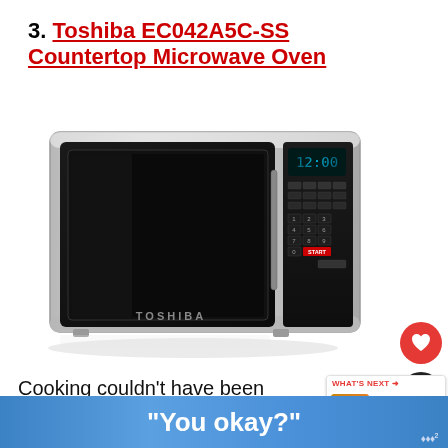3. Toshiba EC042A5C-SS Countertop Microwave Oven
[Figure (photo): Toshiba EC042A5C-SS stainless steel countertop microwave oven with black control panel on the right and TOSHIBA branding on the bottom front. Heart and share buttons visible on right side.]
Cooking couldn't have been easier with this convection and microwave oven powered by the same appliance. It's functions
[Figure (infographic): WHAT'S NEXT arrow promo box showing '5 Best Microwave...' with a food thumbnail image]
"You okay?" banner advertisement